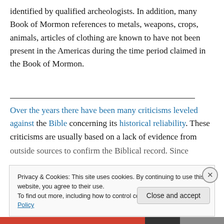identified by qualified archeologists. In addition, many Book of Mormon references to metals, weapons, crops, animals, articles of clothing are known to have not been present in the Americas during the time period claimed in the Book of Mormon.
Over the years there have been many criticisms leveled against the Bible concerning its historical reliability. These criticisms are usually based on a lack of evidence from outside sources to confirm the Biblical record. Since
Privacy & Cookies: This site uses cookies. By continuing to use this website, you agree to their use.
To find out more, including how to control cookies, see here: Cookie Policy
Close and accept